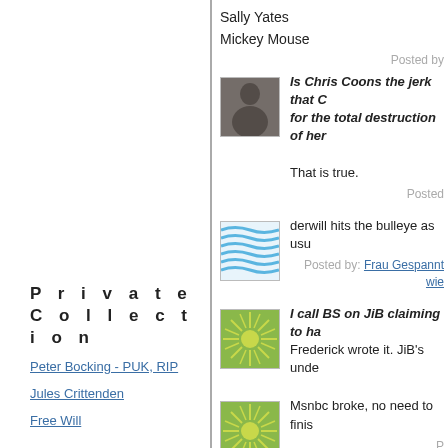Sally Yates
Mickey Mouse
Posted by
Is Chris Coons the jerk that C... for the total destruction of her...
That is true.
Posted
derwill hits the bulleye as usu...
Posted by: Frau Gespannt wie...
I call BS on JiB claiming to ha...
Frederick wrote it. JiB's unde...
Msnbc broke, no need to finis...
P r i v a t e   C o l l e c t i o n
Peter Bocking - PUK, RIP
Jules Crittenden
Free Will